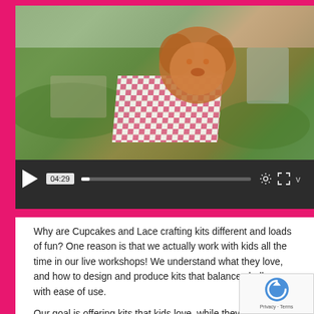[Figure (screenshot): Video player screenshot showing a stuffed dog on a pink checkered picnic blanket on grass. Video controls show play button, timestamp 04:29, progress bar, settings icon, fullscreen icon, and volume icon. Duration shown as 04:29.]
Why are Cupcakes and Lace crafting kits different and loads of fun?  One reason is that we actually work with kids all the time in our live workshops!  We understand what they love, and how to design and produce kits that balance challenge with ease of use.
Our goal is offering kits that kids love, while they get the cognitive and emotional benefits that come from age appropriate creative activities.